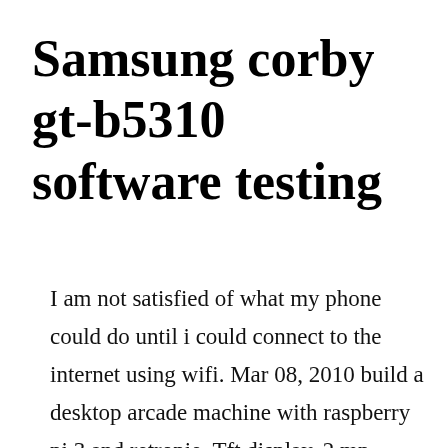Samsung corby gt-b5310 software testing
I am not satisfied of what my phone could do until i could connect to the internet using wifi. Mar 08, 2010 build a desktop arcade machine with raspberry pi 3 and retropie. Tft display, 2 mp primary camera, mah battery, 26 mb storage. Although the slider keyboard is in qwerty the software is in azerty. Buy samsung